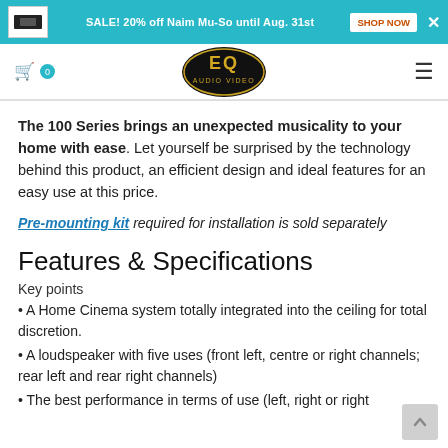SALE! 20% off Naim Mu-So until Aug. 31st  SHOP NOW
[Figure (logo): EQ Audio Video logo — circular black badge with gold EQ letters and AUDIO VIDEO text]
The 100 Series brings an unexpected musicality to your home with ease. Let yourself be surprised by the technology behind this product, an efficient design and ideal features for an easy use at this price.
Pre-mounting kit required for installation is sold separately
Features & Specifications
Key points
A Home Cinema system totally integrated into the ceiling for total discretion.
A loudspeaker with five uses (front left, centre or right channels; rear left and rear right channels)
The best performance in terms of use (left, right or right